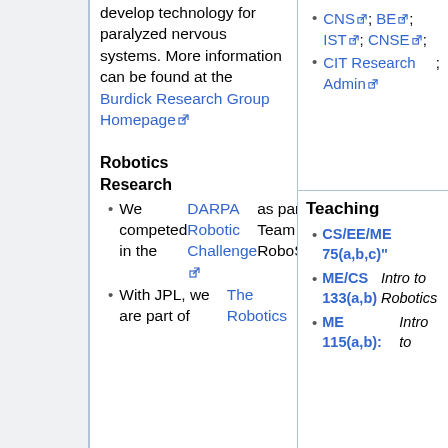develop technology for paralyzed nervous systems. More information can be found at the Burdick Research Group Homepage
Robotics Research
We competed in the DARPA Robotic Challenge as part of Team RoboSimian
With JPL, we are part of The Robotics
CNS; BE; IST; CNSE;
CIT Research Admin;
Teaching
CS/EE/ME 75(a,b,c)"
ME/CS 133(a,b) Intro to Robotics
ME 115(a,b): Intro to